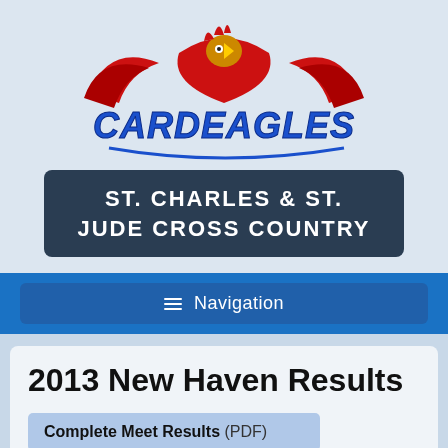[Figure (logo): CardEagles mascot logo — a cardinal/eagle hybrid bird with red wings and blue stylized text reading CARDEAGLES]
ST. CHARLES & ST. JUDE CROSS COUNTRY
≡  Navigation
2013 New Haven Results
Complete Meet Results (PDF)